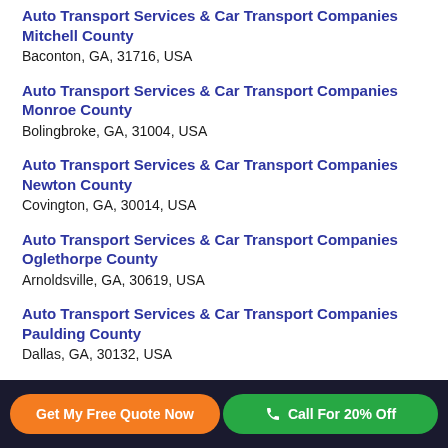Auto Transport Services & Car Transport Companies Mitchell County
Baconton, GA, 31716, USA
Auto Transport Services & Car Transport Companies Monroe County
Bolingbroke, GA, 31004, USA
Auto Transport Services & Car Transport Companies Newton County
Covington, GA, 30014, USA
Auto Transport Services & Car Transport Companies Oglethorpe County
Arnoldsville, GA, 30619, USA
Auto Transport Services & Car Transport Companies Paulding County
Dallas, GA, 30132, USA
Get My Free Quote Now   Call For 20% Off